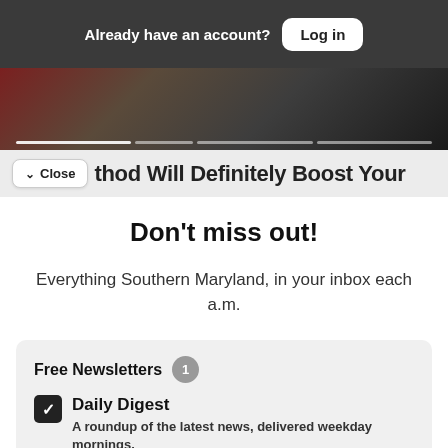Already have an account? Log in
[Figure (photo): Partial photo strip showing a person, dark background with reddish tones]
✓ Close
thod Will Definitely Boost Your
Don't miss out!
Everything Southern Maryland, in your inbox each a.m.
Free Newsletters 1
Daily Digest A roundup of the latest news, delivered weekday mornings.